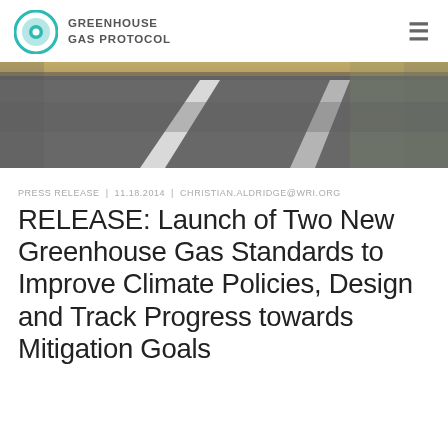GREENHOUSE GAS PROTOCOL
[Figure (photo): Aerial view of a road with white dashed lane markings on dark asphalt, photographed from above at an angle.]
PRESS RELEASE  |  11.18.2014  |  CHRISTIAN.ALDRIDGE@WRI.ORG
RELEASE: Launch of Two New Greenhouse Gas Standards to Improve Climate Policies, Design and Track Progress towards Mitigation Goals